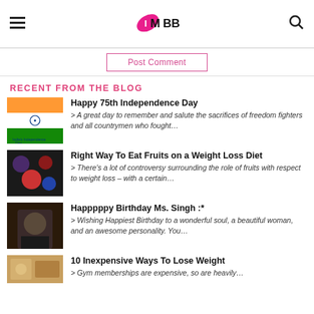IMBB - logo and navigation
Post Comment
RECENT FROM THE BLOG
[Figure (photo): Indian flag image for Independence Day post thumbnail]
Happy 75th Independence Day
> A great day to remember and salute the sacrifices of freedom fighters and all countrymen who fought…
[Figure (photo): Fruits and diet related thumbnail image]
Right Way To Eat Fruits on a Weight Loss Diet
> There's a lot of controversy surrounding the role of fruits with respect to weight loss – with a certain…
[Figure (photo): Birthday post thumbnail - woman with dark background]
Happpppy Birthday Ms. Singh :*
> Wishing Happiest Birthday to a wonderful soul, a beautiful woman, and an awesome personality. You…
[Figure (photo): Weight loss / food thumbnail image]
10 Inexpensive Ways To Lose Weight
> Gym memberships are expensive, so are heavily…